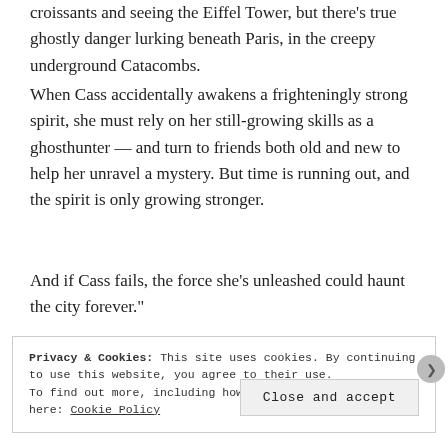croissants and seeing the Eiffel Tower, but there's true ghostly danger lurking beneath Paris, in the creepy underground Catacombs.
When Cass accidentally awakens a frighteningly strong spirit, she must rely on her still-growing skills as a ghosthunter — and turn to friends both old and new to help her unravel a mystery. But time is running out, and the spirit is only growing stronger.
And if Cass fails, the force she's unleashed could haunt the city forever."
Privacy & Cookies: This site uses cookies. By continuing to use this website, you agree to their use.
To find out more, including how to control cookies, see here: Cookie Policy
Close and accept